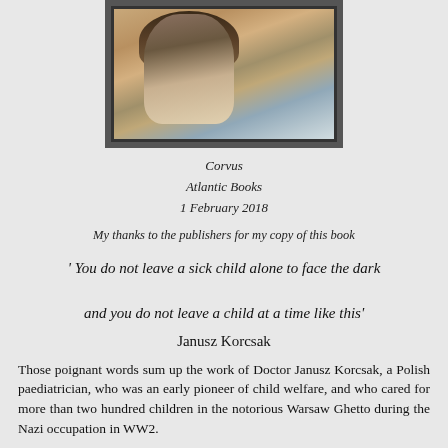[Figure (photo): A photograph of a person with long dark hair looking down, with a street scene in the background, framed with a dark border]
Corvus
Atlantic Books
1 February 2018
My thanks to the publishers for my copy of this book
' You do not leave a sick child alone to face the dark

and you do not leave a child at a time like this'
Janusz Korcsak
Those poignant words sum up the work of Doctor Janusz Korcsak, a Polish paediatrician, who was an early pioneer of child welfare, and who cared for more than two hundred children in the notorious Warsaw Ghetto during the Nazi occupation in WW2.